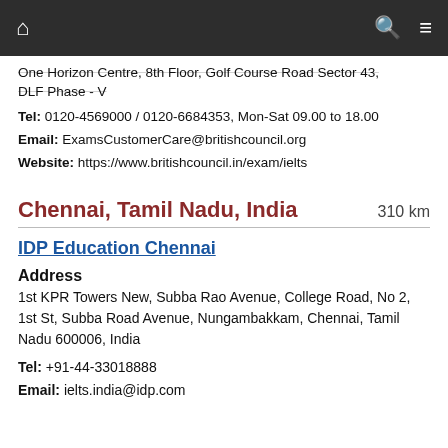Navigation bar with home, search, and menu icons
One Horizon Centre, 8th Floor, Golf Course Road Sector 43, DLF Phase - V
Tel: 0120-4569000 / 0120-6684353, Mon-Sat 09.00 to 18.00
Email: ExamsCustomerCare@britishcouncil.org
Website: https://www.britishcouncil.in/exam/ielts
Chennai, Tamil Nadu, India   310 km
IDP Education Chennai
Address
1st KPR Towers New, Subba Rao Avenue, College Road, No 2, 1st St, Subba Road Avenue, Nungambakkam, Chennai, Tamil Nadu 600006, India
Tel: +91-44-33018888
Email: ielts.india@idp.com